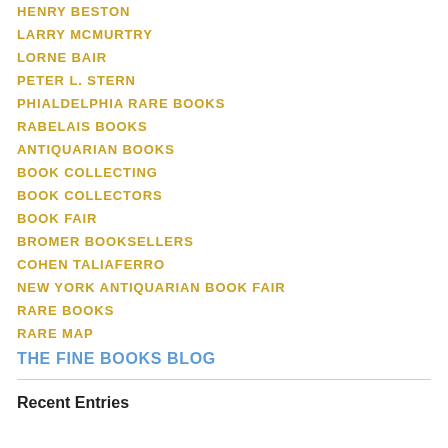HENRY BESTON
LARRY MCMURTRY
LORNE BAIR
PETER L. STERN
PHIALDELPHIA RARE BOOKS
RABELAIS BOOKS
ANTIQUARIAN BOOKS
BOOK COLLECTING
BOOK COLLECTORS
BOOK FAIR
BROMER BOOKSELLERS
COHEN TALIAFERRO
NEW YORK ANTIQUARIAN BOOK FAIR
RARE BOOKS
RARE MAP
THE FINE BOOKS BLOG
Recent Entries